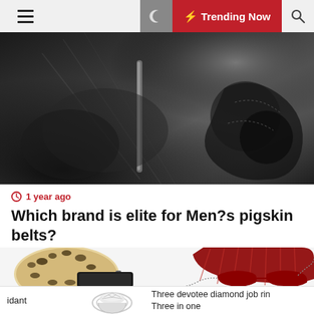☰  🌙  ⚡ Trending Now  🔍
[Figure (photo): Close-up of dark leather goods and accessories, including a phone case or wallet in black embossed leather with metal details, on a dark grey/black background]
🕐 1 year ago
Which brand is elite for Men?s pigskin belts?
[Figure (photo): Fashion accessories collage: leopard print round bag (calf hair), red ruffled fan clutch, black leather wallet/cardholder, red cat-eye glasses with chain/pendant]
[Figure (photo): Diamond ring (silver/white gold, pavé set), partially shown at bottom of page]
idant
Three devotee diamond job rin
Three in one